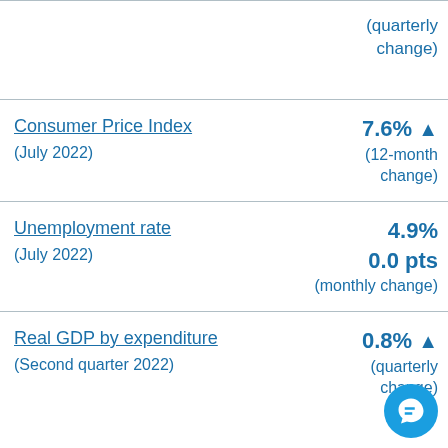| Indicator | Value / Change |
| --- | --- |
| (quarterly change) |  |
| Consumer Price Index (July 2022) | 7.6% ↑ (12-month change) |
| Unemployment rate (July 2022) | 4.9% / 0.0 pts (monthly change) |
| Real GDP by expenditure (Second quarter 2022) | 0.8% ↑ (quarterly change) |